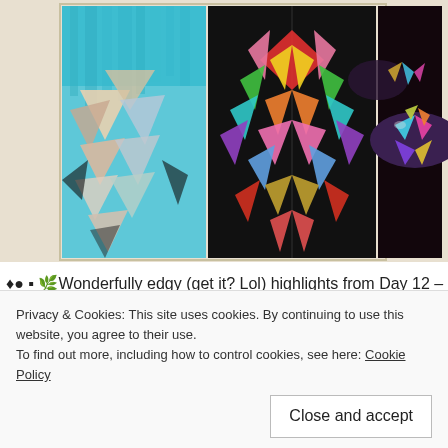[Figure (photo): Three photos of artistic geometric face makeup arranged in a horizontal strip. Left: person with teal/turquoise hair and colorful geometric triangular face paint. Center: symmetric colorful geometric face/mask design with pink, red, green, yellow shapes. Right: close-up of lips decorated with colorful geometric triangles on dark/purple background.]
♦● ▪ 🌿Wonderfully edgy (get it? Lol) highlights from Day 12 – GE #SeptemberMakeupChallenge …we are almost to the halfway ma Tomorrow is my birthday!!! Woot woot!!! 😄👏🎂 you all should be 🎨
[Figure (screenshot): Dark rounded rectangle button with white chalk-style text reading 'Click' with heart/cloud decorative border outline.]
Privacy & Cookies: This site uses cookies. By continuing to use this website, you agree to their use.
To find out more, including how to control cookies, see here: Cookie Policy
Close and accept